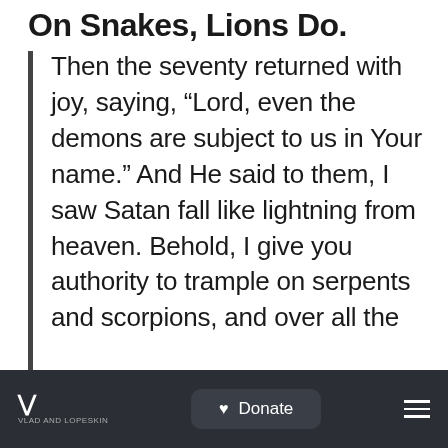On Snakes, Lions Do.
Then the seventy returned with joy, saying, “Lord, even the demons are subject to us in Your name.” And He said to them, I saw Satan fall like lightning from heaven. Behold, I give you authority to trample on serpents and scorpions, and over all the
Donate